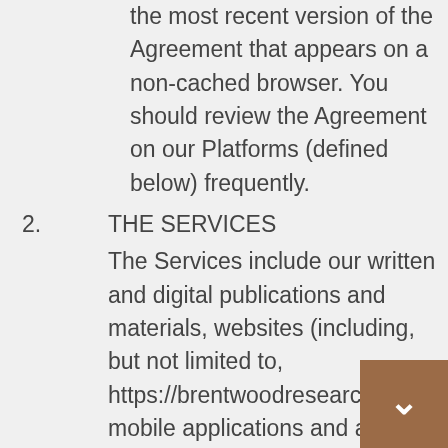the most recent version of the Agreement that appears on a non-cached browser. You should review the Agreement on our Platforms (defined below) frequently.
THE SERVICES
The Services include our written and digital publications and materials, websites (including, but not limited to, https://brentwoodresearch.com/), mobile applications and all other online and other platforms (collectively, the “Platforms”), all Content (defined below) displayed on or delivered through the Platforms, and memberships (collectively, the “Services”). “Content” means data,